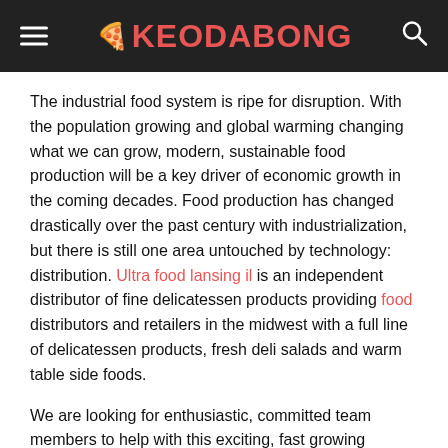KEODABONG
The industrial food system is ripe for disruption. With the population growing and global warming changing what we can grow, modern, sustainable food production will be a key driver of economic growth in the coming decades. Food production has changed drastically over the past century with industrialization, but there is still one area untouched by technology: distribution. Ultra food lansing il is an independent distributor of fine delicatessen products providing food distributors and retailers in the midwest with a full line of delicatessen products, fresh deli salads and warm table side foods.
We are looking for enthusiastic, committed team members to help with this exciting, fast growing company.  If you are